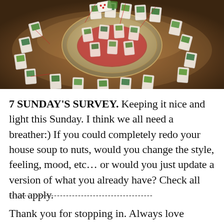[Figure (photo): Overhead photo of a wooden table with many small gift tags or cards featuring painted topiary/plant designs, arranged around a large silver tray, with colorful ribbons and festive decorations.]
7 SUNDAY'S SURVEY. Keeping it nice and light this Sunday. I think we all need a breather:) If you could completely redo your house soup to nuts, would you change the style, feeling, mood, etc… or would you just update a version of what you already have? Check all that apply.
------------------------------------------------
Thank you for stopping in. Always love hearing